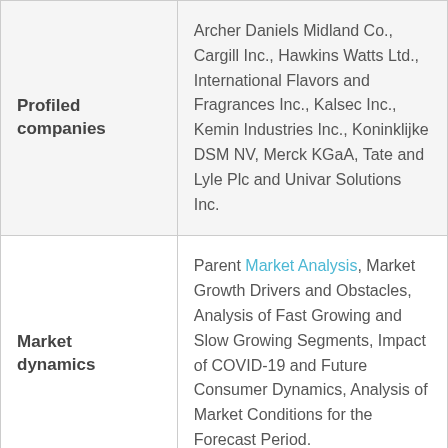| Category | Details |
| --- | --- |
| Profiled companies | Archer Daniels Midland Co., Cargill Inc., Hawkins Watts Ltd., International Flavors and Fragrances Inc., Kalsec Inc., Kemin Industries Inc., Koninklijke DSM NV, Merck KGaA, Tate and Lyle Plc and Univar Solutions Inc. |
| Market dynamics | Parent Market Analysis, Market Growth Drivers and Obstacles, Analysis of Fast Growing and Slow Growing Segments, Impact of COVID-19 and Future Consumer Dynamics, Analysis of Market Conditions for the Forecast Period. |
|  |  |